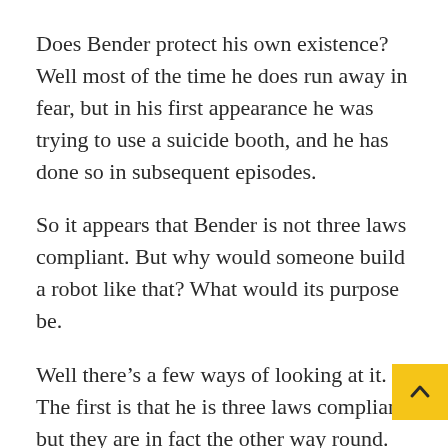Does Bender protect his own existence? Well most of the time he does run away in fear, but in his first appearance he was trying to use a suicide booth, and he has done so in subsequent episodes.
So it appears that Bender is not three laws compliant. But why would someone build a robot like that? What would its purpose be.
Well there's a few ways of looking at it. The first is that he is three laws compliant, but they are in fact the other way round. Namely the most over-arching rule of Bender is self preservation. That he protects himself and avoids harm before he helps humans and